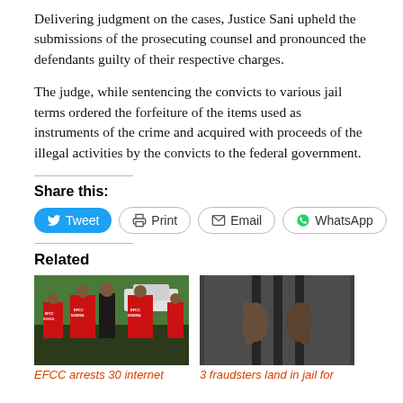Delivering judgment on the cases, Justice Sani upheld the submissions of the prosecuting counsel and pronounced the defendants guilty of their respective charges.
The judge, while sentencing the convicts to various jail terms ordered the forfeiture of the items used as instruments of the crime and acquired with proceeds of the illegal activities by the convicts to the federal government.
Share this:
Tweet  Print  Email  WhatsApp
Related
[Figure (photo): EFCC officers in red jackets labeled EFCC NIGERIA standing with a person in a suit]
EFCC arrests 30 internet
[Figure (photo): Black and white photo of hands gripping prison bars]
3 fraudsters land in jail for